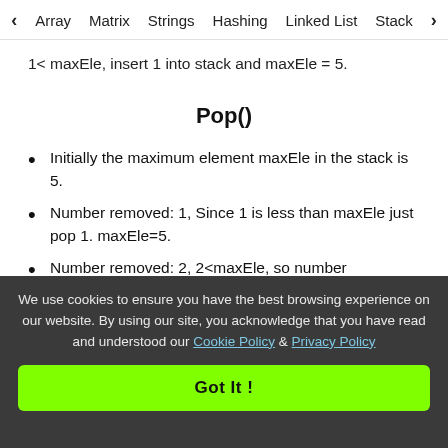< Array  Matrix  Strings  Hashing  Linked List  Stack >
1< maxEle, insert 1 into stack and maxEle = 5.
Pop()
Initially the maximum element maxEle in the stack is 5.
Number removed: 1, Since 1 is less than maxEle just pop 1. maxEle=5.
Number removed: 2, 2<maxEle, so number
We use cookies to ensure you have the best browsing experience on our website. By using our site, you acknowledge that you have read and understood our Cookie Policy & Privacy Policy
Got It !